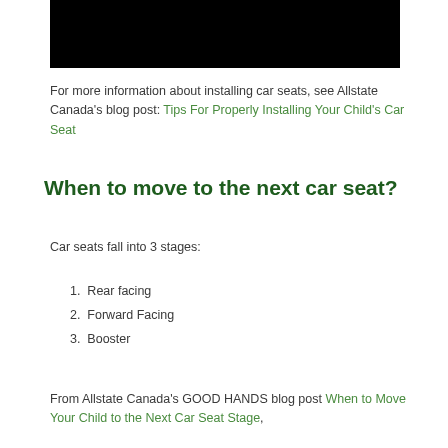[Figure (photo): Black rectangle image at top of page]
For more information about installing car seats, see Allstate Canada's blog post: Tips For Properly Installing Your Child's Car Seat
When to move to the next car seat?
Car seats fall into 3 stages:
1. Rear facing
2. Forward Facing
3. Booster
From Allstate Canada's GOOD HANDS blog post When to Move Your Child to the Next Car Seat Stage,